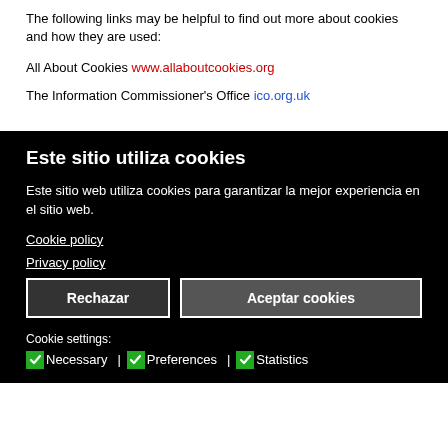The following links may be helpful to find out more about cookies and how they are used:
All About Cookies www.allaboutcookies.org
The Information Commissioner's Office ico.org.uk
Este sitio utiliza cookies
Este sitio web utiliza cookies para garantizar la mejor experiencia en el sitio web.
Cookie policy
Privacy policy
Rechazar | Aceptar cookies
Cookie settings: Necessary | Preferences | Statistics